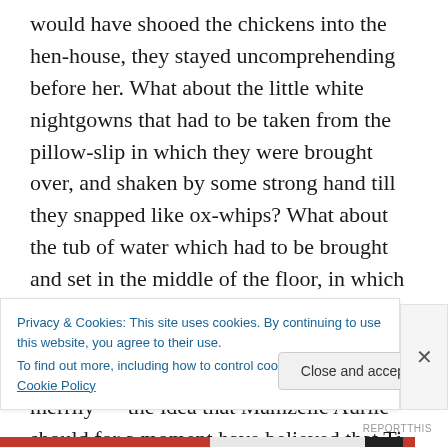would have shooed the chickens into the hen-house, they stayed uncomprehending before her. What about the little white nightgowns that had to be taken from the pillow-slip in which they were brought over, and shaken by some strong hand till they snapped like ox-whips? What about the tub of water which had to be brought and set in the middle of the floor, in which the little tired, dusty, sun-browned feet had every one to be washed sweet and clean? And it made Marcline and Marclette laugh merrily — the idea that Mamzelle Aurlie should for a moment have believed that Ti Nomme could fall asleep without being
Privacy & Cookies: This site uses cookies. By continuing to use this website, you agree to their use.
To find out more, including how to control cookies, see here: Cookie Policy
Close and accept